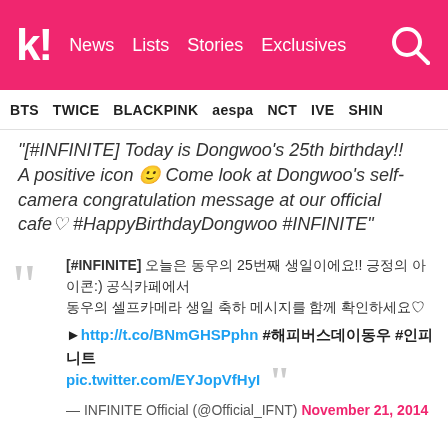K! News Lists Stories Exclusives
BTS TWICE BLACKPINK aespa NCT IVE SHINee
"[#INFINITE] Today is Dongwoo's 25th birthday!! A positive icon 🙂 Come look at Dongwoo's self-camera congratulation message at our official cafe♡ #HappyBirthdayDongwoo #INFINITE"
[#INFINITE] 오늘은 동우의 25번째 생일이에요!! 긍정의 아이콘:) 공식카페에서 동우의 셀프카메라 생일 축하 메시지를 함께 확인하세요♡ ▶http://t.co/BNmGHSPphn #해피버스데이동우 #인피니트 pic.twitter.com/EYJopVfHyI — INFINITE Official (@Official_IFNT) November 21, 2014